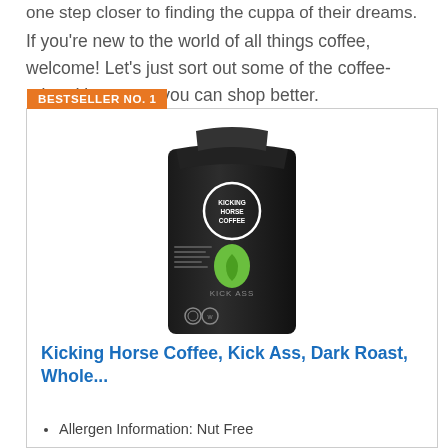one step closer to finding the cuppa of their dreams.
If you're new to the world of all things coffee, welcome! Let's just sort out some of the coffee-related jargon so you can shop better.
BESTSELLER NO. 1
[Figure (photo): Black coffee bag from Kicking Horse Coffee with a green circle logo on the front, displayed against a white background.]
Kicking Horse Coffee, Kick Ass, Dark Roast, Whole...
Allergen Information: Nut Free